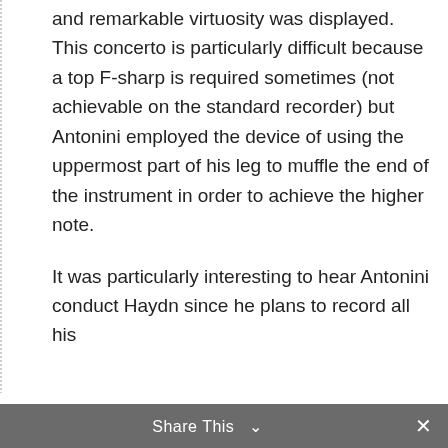and remarkable virtuosity was displayed. This concerto is particularly difficult because a top F-sharp is required sometimes (not achievable on the standard recorder) but Antonini employed the device of using the uppermost part of his leg to muffle the end of the instrument in order to achieve the higher note.

It was particularly interesting to hear Antonini conduct Haydn since he plans to record all his
We use cookies on our website to give you the most relevant experience by remembering your preferences and repeat visits. By clicking “Accept”, you consent to the use of ALL the cookies.
Cookie settings   ACCEPT
Share This   ∨   ×